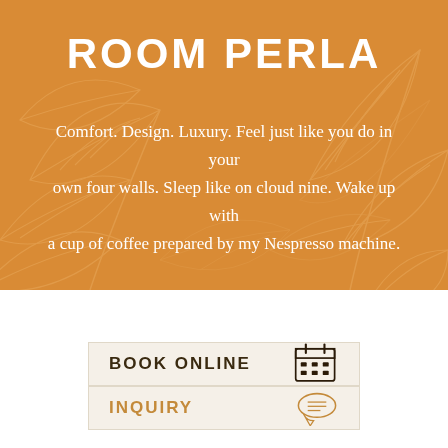ROOM PERLA
Comfort. Design. Luxury. Feel just like you do in your own four walls. Sleep like on cloud nine. Wake up with a cup of coffee prepared by my Nespresso machine.
BOOK ONLINE
INQUIRY